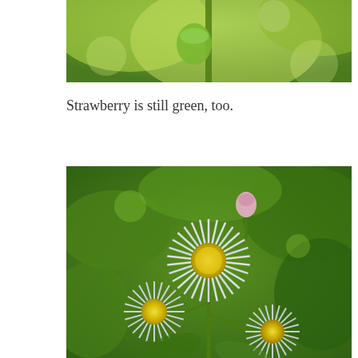[Figure (photo): Close-up of a green strawberry plant with green leaves, blurred background]
Strawberry is still green, too.
[Figure (photo): Three white daisy-like fleabane flowers with yellow centers and thin white-pinkish petals, growing on green stems against a blurred green background. A small pink bud is visible at the top center.]